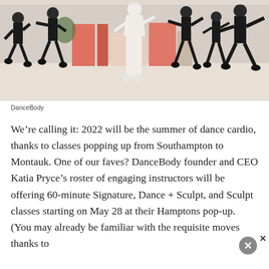[Figure (photo): Group of women doing dance cardio class in a studio. One instructor in white outfit in center, others in black athletic wear, all in dynamic dance poses on a light-colored floor with orange/coral wall accents in background.]
DanceBody
We’re calling it: 2022 will be the summer of dance cardio, thanks to classes popping up from Southampton to Montauk. One of our faves? DanceBody founder and CEO Katia Pryce’s roster of engaging instructors will be offering 60-minute Signature, Dance + Sculpt, and Sculpt classes starting on May 28 at their Hamptons pop-up. (You may already be familiar with the requisite moves thanks to